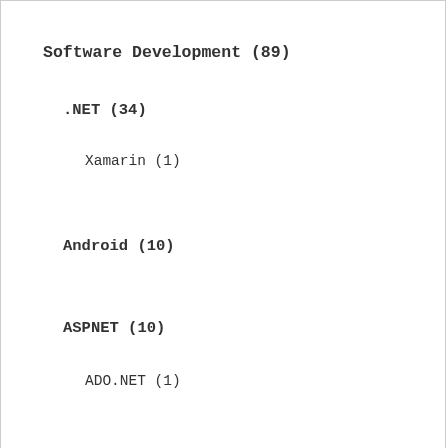Software Development (89)
.NET (34)
Xamarin (1)
Android (10)
ASPNET (10)
ADO.NET (1)
ASPNET (2)
Debate (2)
We use cookies on our website to give you the most relevant experience by remembering your preferences and repeat visits. By clicking “Accept All”, you consent to the use of ALL the cookies. However, you may visit “Cookie Settings” to provide a controlled consent.
Cookie Settings | Accept All